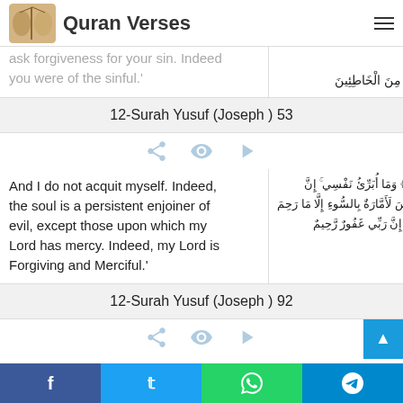Quran Verses
ask forgiveness for your sin. Indeed you were of the sinful.' | كُنتِ مِنَ الْخَاطِئِينَ
12-Surah Yusuf (Joseph ) 53
And I do not acquit myself. Indeed, the soul is a persistent enjoiner of evil, except those upon which my Lord has mercy. Indeed, my Lord is Forgiving and Merciful.' | وَمَا أُبَرِّئُ نَفْسِي ۚ إِنَّ النَّفْسَ لَأَمَّارَةٌ بِالسُّوءِ إِلَّا مَا رَحِمَ رَبِّي ۚ إِنَّ رَبِّي غَفُورٌ رَّحِيمٌ
12-Surah Yusuf (Joseph ) 92